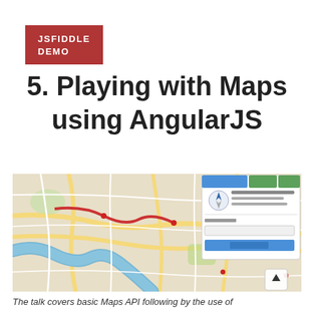[Figure (screenshot): Red banner button labeled JSFIDDLE DEMO]
5. Playing with Maps using AngularJS
[Figure (screenshot): Screenshot of an OpenStreetMap-based interactive map showing a city, with a search/info panel on the right side and a scroll-to-top button in the bottom right corner.]
The talk covers basic Maps API following by the use of